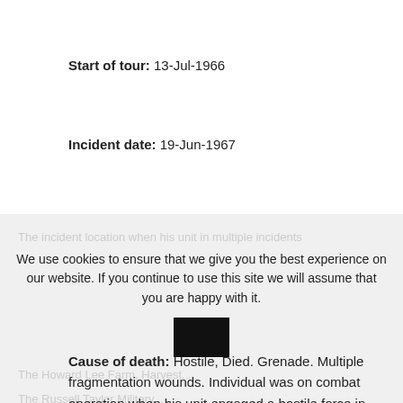Start of tour: 13-Jul-1966
Incident date: 19-Jun-1967
Date of casualty: 19-Jun-1967
Age at death: 34
Cause of death: Hostile, Died. Grenade. Multiple fragmentation wounds. Individual was on combat operation when his unit engaged a hostile force in firefight.
We use cookies to ensure that we give you the best experience on our website. If you continue to use this site we will assume that you are happy with it.